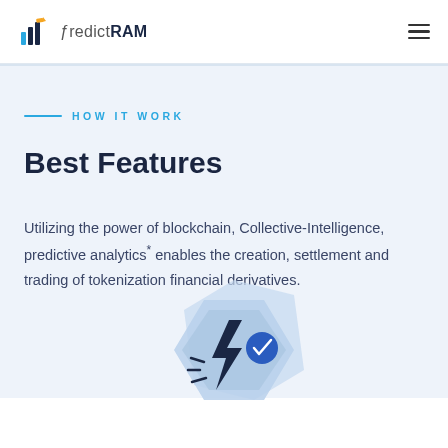PredictRAM
HOW IT WORK
Best Features
Utilizing the power of blockchain, Collective-Intelligence, predictive analytics* enables the creation, settlement and trading of tokenization financial derivatives.
[Figure (illustration): Hexagonal shield icon with a lightning bolt and a blue check badge, illustrating fast/verified financial features]